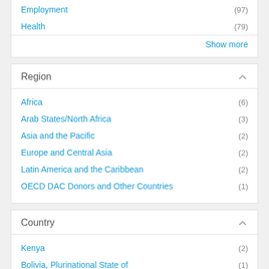Employment (97)
Health (79)
Show more
Region
Africa (6)
Arab States/North Africa (3)
Asia and the Pacific (2)
Europe and Central Asia (2)
Latin America and the Caribbean (2)
OECD DAC Donors and Other Countries (1)
Country
Kenya (2)
Bolivia, Plurinational State of (1)